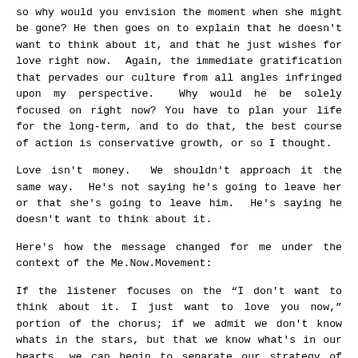so why would you envision the moment when she might be gone? He then goes on to explain that he doesn't want to think about it, and that he just wishes for love right now.  Again, the immediate gratification that pervades our culture from all angles infringed upon my perspective.  Why would he be solely focused on right now? You have to plan your life for the long-term, and to do that, the best course of action is conservative growth, or so I thought.
Love isn't money.  We shouldn't approach it the same way.  He's not saying he's going to leave her or that she's going to leave him.  He's saying he doesn't want to think about it.
Here's how the message changed for me under the context of the Me.Now.Movement:
If the listener focuses on the “I don't want to think about it. I just want to love you now,” portion of the chorus; if we admit we don't know whats in the stars, but that we know what's in our hearts, we can begin to separate our strategy of long-term financial growth